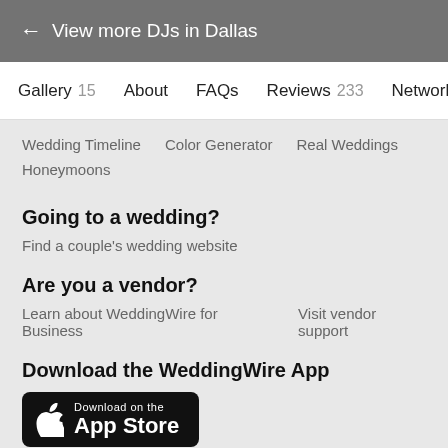← View more DJs in Dallas
Gallery 15   About   FAQs   Reviews 233   Network
Wedding Timeline   Color Generator   Real Weddings   Honeymoons
Going to a wedding?
Find a couple's wedding website
Are you a vendor?
Learn about WeddingWire for Business   Visit vendor support
Download the WeddingWire App
[Figure (other): Download on the App Store badge — black rounded rectangle with Apple logo and text 'Download on the App Store']